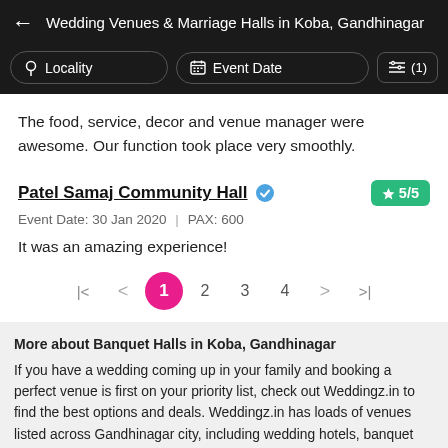Wedding Venues & Marriage Halls in Koba, Gandhinagar
The food, service, decor and venue manager were awesome. Our function took place very smoothly.
Patel Samaj Community Hall
Event Date: 30 Jan 2020 | PAX: 600
It was an amazing experience!
1 2 3 4
More about Banquet Halls in Koba, Gandhinagar
If you have a wedding coming up in your family and booking a perfect venue is first on your priority list, check out Weddingz.in to find the best options and deals. Weddingz.in has loads of venues listed across Gandhinagar city, including wedding hotels, banquet halls, wedding lawns, terrace banquet